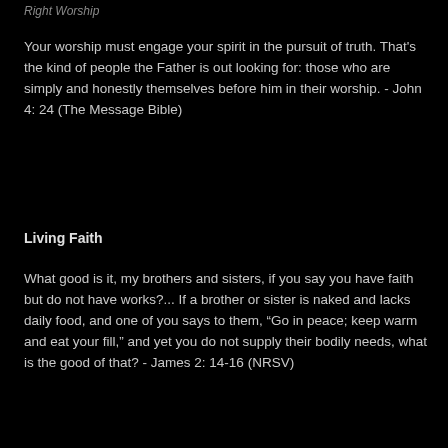Right Worship
Your worship must engage your spirit in the pursuit of truth. That's the kind of people the Father is out looking for: those who are simply and honestly themselves before him in their worship. - John 4: 24 (The Message Bible)
Living Faith
What good is it, my brothers and sisters, if you say you have faith but do not have works?... If a brother or sister is naked and lacks daily food, and one of you says to them, “Go in peace; keep warm and eat your fill,” and yet you do not supply their bodily needs, what is the good of that? - James 2: 14-16 (NRSV)